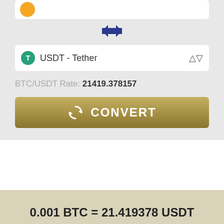[Figure (screenshot): Cryptocurrency converter UI showing BTC to USDT conversion with rate 21419.378157 and result 0.001 BTC = 21.419378 USDT]
USDT - Tether
BTC/USDT Rate: 21419.378157
CONVERT
0.001 BTC = 21.419378 USDT